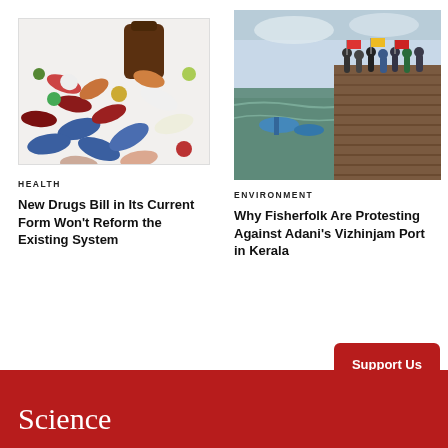[Figure (photo): Pills and capsules spilling out of a brown medicine bottle on a white background]
HEALTH
New Drugs Bill in Its Current Form Won't Reform the Existing System
[Figure (photo): People walking on a pier/jetty with boats and sea in background, flags visible, overcast sky]
ENVIRONMENT
Why Fisherfolk Are Protesting Against Adani's Vizhinjam Port in Kerala
Support Us
Science